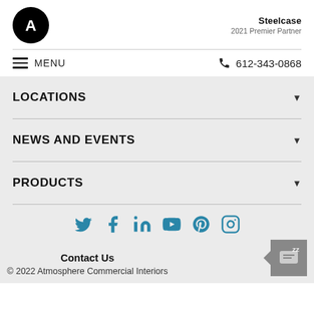[Figure (logo): Atmosphere Commercial Interiors logo - black circle with white A letter]
[Figure (logo): Steelcase 2021 Premier Partner logo]
MENU
612-343-0868
LOCATIONS
NEWS AND EVENTS
PRODUCTS
[Figure (infographic): Social media icons: Twitter, Facebook, LinkedIn, YouTube, Pinterest, Instagram in teal color]
Contact Us
© 2022 Atmosphere Commercial Interiors